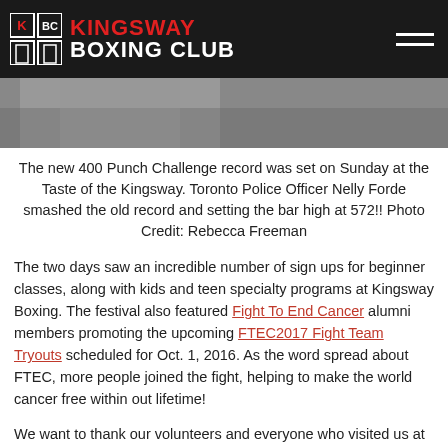Kingsway Boxing Club
[Figure (photo): Partial photo strip showing a person at an outdoor event, cropped view]
The new 400 Punch Challenge record was set on Sunday at the Taste of the Kingsway. Toronto Police Officer Nelly Forde smashed the old record and setting the bar high at 572!! Photo Credit: Rebecca Freeman
The two days saw an incredible number of sign ups for beginner classes, along with kids and teen specialty programs at Kingsway Boxing. The festival also featured Fight To End Cancer alumni members promoting the upcoming FTEC2017 Fight Team Tryouts scheduled for Oct. 1, 2016. As the word spread about FTEC, more people joined the fight, helping to make the world cancer free within out lifetime!
We want to thank our volunteers and everyone who visited us at this year's Taste of the Kingsway Festival, it was a great turn out and a massive success! The fight doesn't end here, if you're interested in donating or even trying out for the Fight